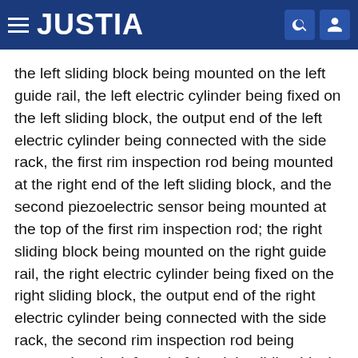JUSTIA
the left sliding block being mounted on the left guide rail, the left electric cylinder being fixed on the left sliding block, the output end of the left electric cylinder being connected with the side rack, the first rim inspection rod being mounted at the right end of the left sliding block, and the second piezoelectric sensor being mounted at the top of the first rim inspection rod; the right sliding block being mounted on the right guide rail, the right electric cylinder being fixed on the right sliding block, the output end of the right electric cylinder being connected with the side rack, the second rim inspection rod being mounted at the left end of the right sliding block, and the second intelligent meter being mounted on the second rim inspection rod;